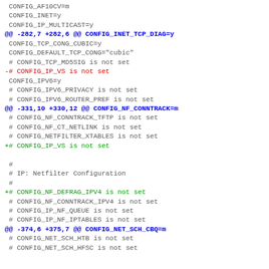Diff/patch code listing showing kernel configuration changes
CONFIG_AF10CV=m
 CONFIG_INET=y
 CONFIG_IP_MULTICAST=y
@@ -282,7 +282,6 @@ CONFIG_INET_TCP_DIAG=y
 CONFIG_TCP_CONG_CUBIC=y
 CONFIG_DEFAULT_TCP_CONG="cubic"
 # CONFIG_TCP_MD5SIG is not set
-# CONFIG_IP_VS is not set
 CONFIG_IPV6=y
 # CONFIG_IPV6_PRIVACY is not set
 # CONFIG_IPV6_ROUTER_PREF is not set
@@ -331,10 +330,12 @@ CONFIG_NF_CONNTRACK=m
 # CONFIG_NF_CONNTRACK_TFTP is not set
 # CONFIG_NF_CT_NETLINK is not set
 # CONFIG_NETFILTER_XTABLES is not set
+# CONFIG_IP_VS is not set

 #
 # IP: Netfilter Configuration
 #
+# CONFIG_NF_DEFRAG_IPV4 is not set
 # CONFIG_NF_CONNTRACK_IPV4 is not set
 # CONFIG_IP_NF_QUEUE is not set
 # CONFIG_IP_NF_IPTABLES is not set
@@ -374,6 +375,7 @@ CONFIG_NET_SCH_CBQ=m
 # CONFIG_NET_SCH_HTB is not set
 # CONFIG_NET_SCH_HFSC is not set